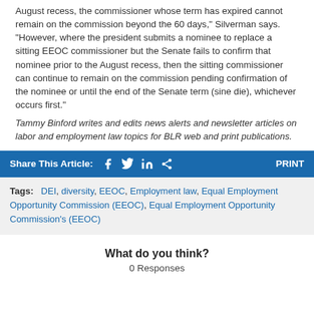August recess, the commissioner whose term has expired cannot remain on the commission beyond the 60 days," Silverman says. "However, where the president submits a nominee to replace a sitting EEOC commissioner but the Senate fails to confirm that nominee prior to the August recess, then the sitting commissioner can continue to remain on the commission pending confirmation of the nominee or until the end of the Senate term (sine die), whichever occurs first."
Tammy Binford writes and edits news alerts and newsletter articles on labor and employment law topics for BLR web and print publications.
Share This Article: [Facebook] [Twitter] [LinkedIn] [Share] PRINT
Tags: DEI, diversity, EEOC, Employment law, Equal Employment Opportunity Commission (EEOC), Equal Employment Opportunity Commission's (EEOC)
What do you think?
0 Responses